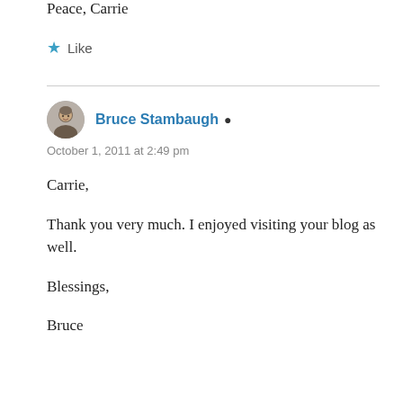Peace, Carrie
★ Like
Bruce Stambaugh ▲
October 1, 2011 at 2:49 pm
Carrie,
Thank you very much. I enjoyed visiting your blog as well.
Blessings,
Bruce